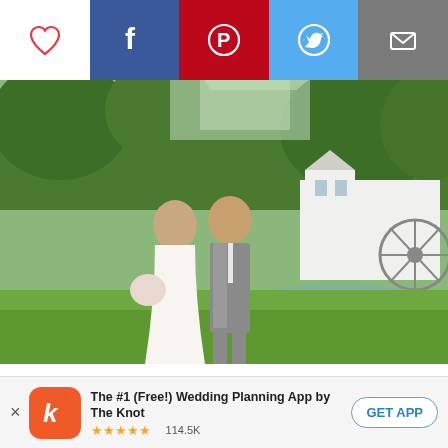[Figure (screenshot): Social sharing bar with heart/like, Facebook, Pinterest, Twitter, and email buttons]
[Figure (photo): Wedding couple standing on green lawn in front of a white mill building with a water wheel. Bride in white lace gown holding floral bouquet; groom in gray suit with bow tie. Trees in background, pond reflection visible.]
For their early-summer wedding in Chesterfield, Michigan, Maria Manore (33 and a kindergarten teacher and a blogger) and Robert Gavin's (31 and a lawyer) took their guests on a
[Figure (screenshot): App download banner: The Knot 'k' logo icon, text 'The #1 (Free!) Wedding Planning App by The Knot', 5-star rating, 114.5K reviews, GET APP button]